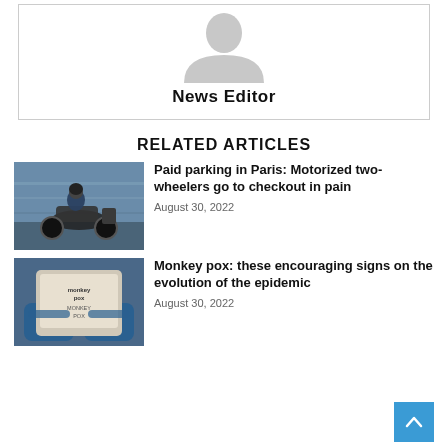[Figure (illustration): Generic user avatar icon — grey silhouette of a person's head and shoulders on white background, inside a bordered box with 'News Editor' label below]
News Editor
RELATED ARTICLES
[Figure (photo): A motorcyclist riding a motorcycle on a city street, motion-blurred background, blue tones]
Paid parking in Paris: Motorized two-wheelers go to checkout in pain
August 30, 2022
[Figure (photo): Hands in blue latex gloves holding a device with text 'Monkey Pox' on its screen]
Monkey pox: these encouraging signs on the evolution of the epidemic
August 30, 2022